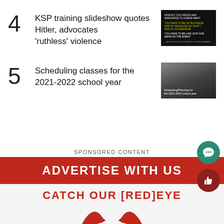4 KSP training slideshow quotes Hitler, advocates 'ruthless' violence
5 Scheduling classes for the 2021-2022 school year
SPONSORED CONTENT
[Figure (infographic): Advertisement banner: red header 'ADVERTISE WITH US', below in red text 'CATCH OUR [RED]EYE', red logo shapes at bottom]
[Figure (infographic): Green circular button with speech bubble icon]
[Figure (infographic): Dark red circular button with thumbs up icon]